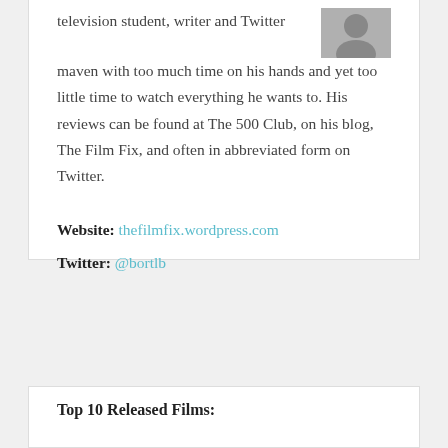television student, writer and Twitter maven with too much time on his hands and yet too little time to watch everything he wants to. His reviews can be found at The 500 Club, on his blog, The Film Fix, and often in abbreviated form on Twitter.
Website: thefilmfix.wordpress.com
Twitter: @bortlb
Top 10 Released Films: